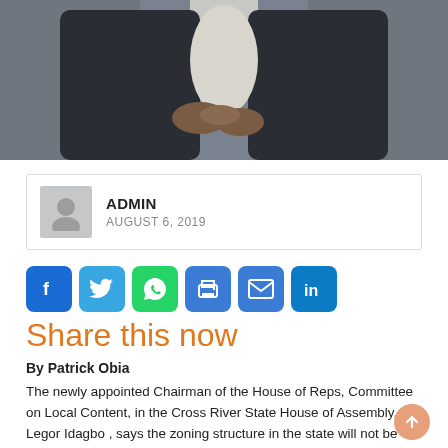[Figure (photo): A person in a dark suit with hands clasped, cropped to show torso and hands only]
ADMIN
AUGUST 6, 2019
[Figure (infographic): Social media share buttons: Facebook, Twitter, WhatsApp, Print, Email, LinkedIn]
Share this now
By Patrick Obia
The newly appointed Chairman of the House of Reps, Committee on Local Content, in the Cross River State House of Assembly, Legor Idagbo , says the zoning structure in the state will not be altered and the next Governor will come from the Southern senatorial district.